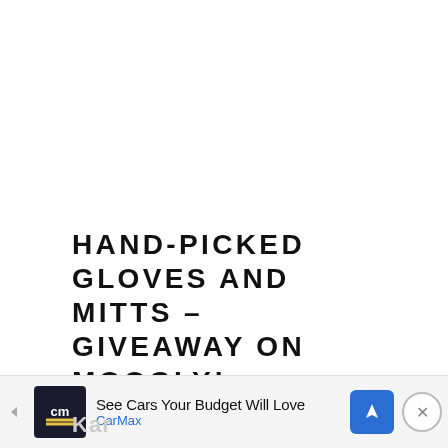HAND-PICKED GLOVES AND MITTS – GIVEAWAY ON MOOGLY!
June 1, 2016 / by Tamara Kelly / 5 Comments
[Figure (screenshot): Advertisement banner for CarMax: 'See Cars Your Budget Will Love' with CarMax logo, navigation icon, and close button. Partial text 'Kar' visible at bottom left.]